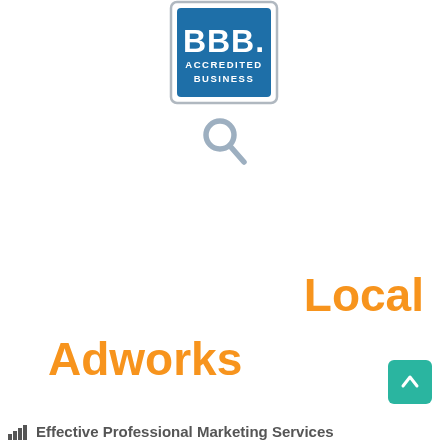[Figure (logo): BBB Accredited Business logo — blue rectangular badge with 'BBB.' in large white letters and 'ACCREDITED BUSINESS' in white text below]
[Figure (illustration): Grey magnifying glass / search icon]
Local
Adworks
[Figure (illustration): Teal/green rounded-square button with a white upward-pointing chevron arrow]
Effective Professional Marketing Services